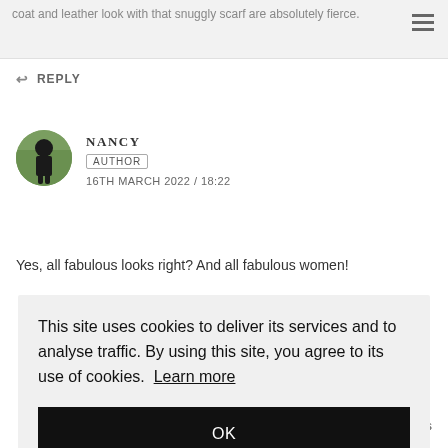coat and leather look with that snuggly scarf are absolutely fierce.
REPLY
NANCY
AUTHOR
16TH MARCH 2022 / 18:22
Yes, all fabulous looks right? And all fabulous women!
This site uses cookies to deliver its services and to analyse traffic. By using this site, you agree to its use of cookies. Learn more
OK
looks